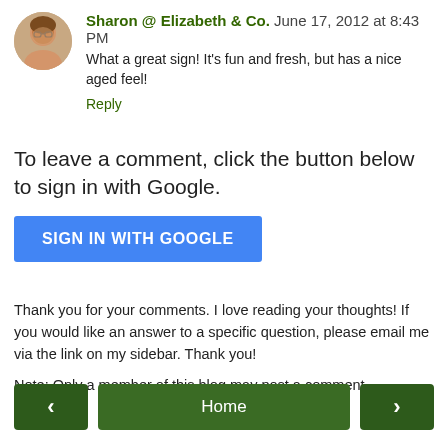Sharon @ Elizabeth & Co.  June 17, 2012 at 8:43 PM
What a great sign! It's fun and fresh, but has a nice aged feel!
Reply
To leave a comment, click the button below to sign in with Google.
[Figure (other): Blue 'SIGN IN WITH GOOGLE' button]
Thank you for your comments. I love reading your thoughts! If you would like an answer to a specific question, please email me via the link on my sidebar. Thank you!
Note: Only a member of this blog may post a comment.
[Figure (other): Navigation buttons: left arrow, Home, right arrow]